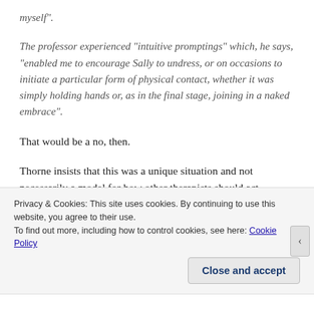myself".
The professor experienced “intuitive promptings” which, he says, “enabled me to encourage Sally to undress, or on occasions to initiate a particular form of physical contact, whether it was simply holding hands or, as in the final stage, joining in a naked embrace”.
That would be a no, then.
Thorne insists that this was a unique situation and not necessarily a model for how other therapists should act. Though from these comments it sounds as though there may be at least one dodgy therapist who views it as a model.
Privacy & Cookies: This site uses cookies. By continuing to use this website, you agree to their use.
To find out more, including how to control cookies, see here: Cookie Policy
Close and accept